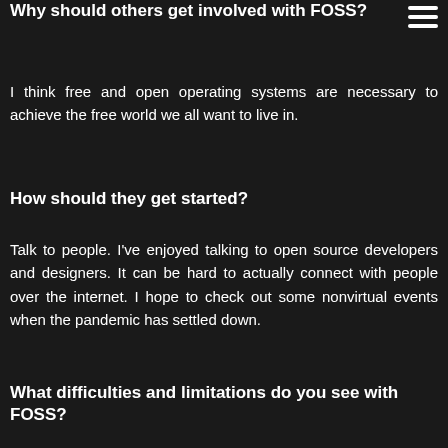Why should others get involved with FOSS?
I think free and open operating systems are necessary to achieve the free world we all want to live in.
How should they get started?
Talk to people. I've enjoyed talking to open source developers and designers. It can be hard to actually connect with people over the internet. I hope to check out some nonvirtual events when the pandemic has settled down.
What difficulties and limitations do you see with FOSS?